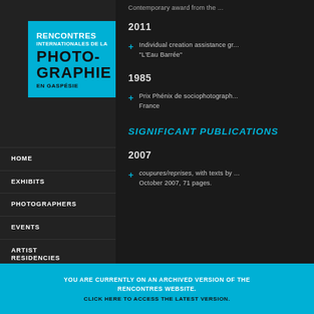[Figure (logo): Rencontres Internationales de la Photographie en Gaspésie logo on cyan background]
HOME
EXHIBITS
PHOTOGRAPHERS
EVENTS
ARTIST RESIDENCIES
INTERNATIONAL COOPÉRATION
ABOUT US
Contemporary award from the ...
2011
Individual creation assistance gr... "L'Eau Barrée"
1985
Prix Phénix de sociophotograph... France
SIGNIFICANT PUBLICATIONS
2007
coupures/reprises, with texts by ... October 2007, 71 pages.
YOU ARE CURRENTLY ON AN ARCHIVED VERSION OF THE RENCONTRES WEBSITE. CLICK HERE TO ACCESS THE LATEST VERSION.